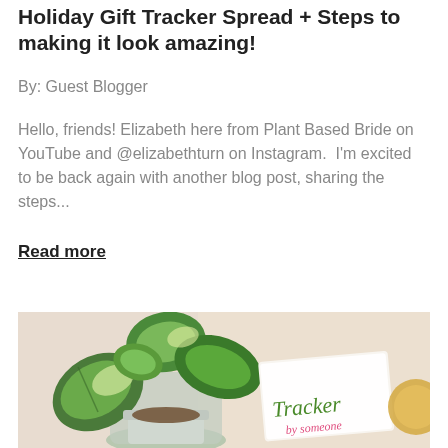Holiday Gift Tracker Spread + Steps to making it look amazing!
By: Guest Blogger
Hello, friends! Elizabeth here from Plant Based Bride on YouTube and @elizabethturn on Instagram.  I'm excited to be back again with another blog post, sharing the steps...
Read more
[Figure (photo): Photo showing a potted green plant with variegated leaves in a white pot, alongside a card or book with 'Tracker' written in green script and pink script text below it, on a beige/cream background.]